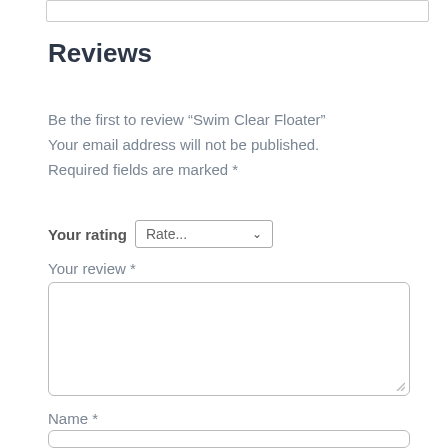Reviews
Be the first to review “Swim Clear Floater” Your email address will not be published. Required fields are marked *
Your rating  Rate...
Your review *
Name *